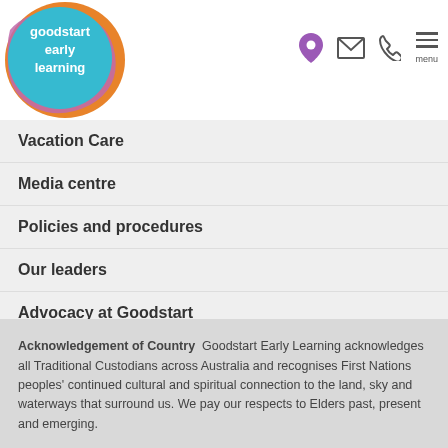[Figure (logo): Goodstart Early Learning logo — circular badge with teal/blue, orange and pink/purple swirl, white text reading 'goodstart early learning']
Vacation Care
Media centre
Policies and procedures
Our leaders
Advocacy at Goodstart
Careers and training
Goodstart Privacy policy
Contact us
Terms and conditions
Acknowledgement of Country  Goodstart Early Learning acknowledges all Traditional Custodians across Australia and recognises First Nations peoples' continued cultural and spiritual connection to the land, sky and waterways that surround us. We pay our respects to Elders past, present and emerging.